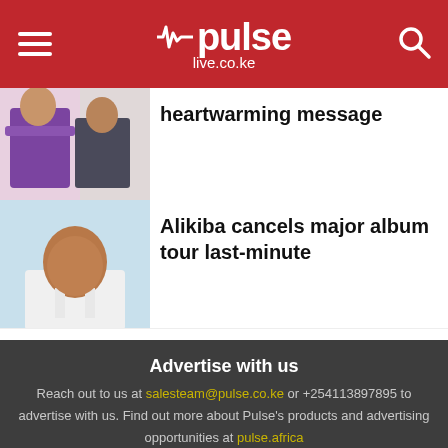pulse live.co.ke
heartwarming message
[Figure (photo): Two women, one in purple dress, one in dark patterned outfit]
Alikiba cancels major album tour last-minute
[Figure (photo): Man in white shirt smiling, against light blue background]
Advertise with us
Reach out to us at salesteam@pulse.co.ke or +254113897895 to advertise with us. Find out more about Pulse's products and advertising opportunities at pulse.africa
Entertainment
Lifestyle